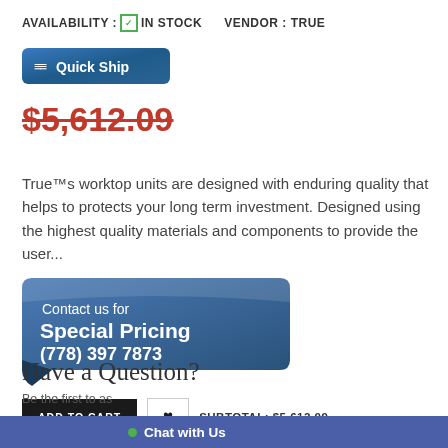AVAILABILITY : ✅ IN STOCK    VENDOR : TRUE
[Figure (other): Quick Ship badge — dark blue rounded rectangle with two arrow chevrons and the text 'Quick Ship' in white bold font]
$5,612.09 (strikethrough price in red)
True™s worktop units are designed with enduring quality that helps to protects your long term investment. Designed using the highest quality materials and components to provide the user...
[Figure (other): Dark blue speech-bubble banner reading 'Contact us for Special Pricing (778) 397 7873']
ADD TO CART  ♥  SUBTOTAL: $5,612.09
Have a Question?
Be the first to as...
Chat with Us